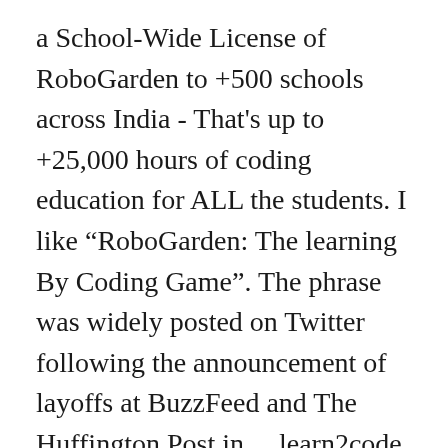a School-Wide License of RoboGarden to +500 schools across India - That's up to +25,000 hours of coding education for ALL the students. I like “RoboGarden: The learning By Coding Game”. The phrase was widely posted on Twitter following the announcement of layoffs at BuzzFeed and The Huffington Post in ... learn2code. Mission statement I'm going to make a website that can teach people the various different ways of coding like website code. RoboGarden | BLOCKLY FOR CODE LEARNING. Over the course of the “journey”, the student will learn various key coding concepts and apply them to maths and science scenarios. All payment transactions are processed and secured by Strip...